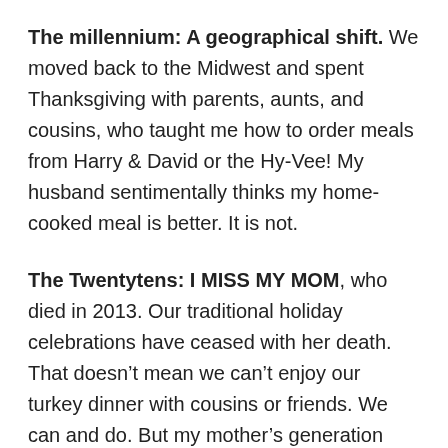The millennium: A geographical shift. We moved back to the Midwest and spent Thanksgiving with parents, aunts, and cousins, who taught me how to order meals from Harry & David or the Hy-Vee!  My husband sentimentally thinks my home-cooked meal is better.  It is not.
The Twentytens:  I MISS MY MOM, who died in 2013. Our traditional holiday celebrations have ceased with her death.  That doesn't mean we can't enjoy our turkey dinner with cousins or friends.  We can and do.  But my mother's generation created our first Thanksgivings.
Happy Thanksgiving!